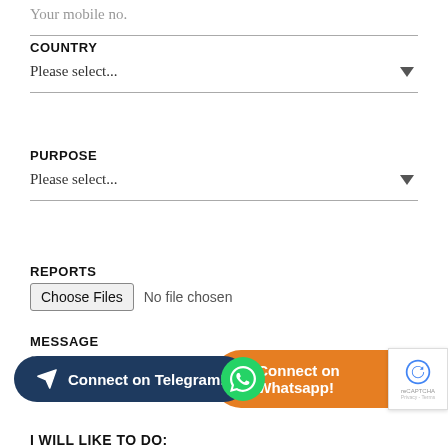Your mobile no.
COUNTRY
Please select...
PURPOSE
Please select...
REPORTS
Choose Files  No file chosen
MESSAGE
How can we help you? Please write in detail.
Connect on Telegram!
Connect on Whatsapp!
I WILL LIKE TO DO: